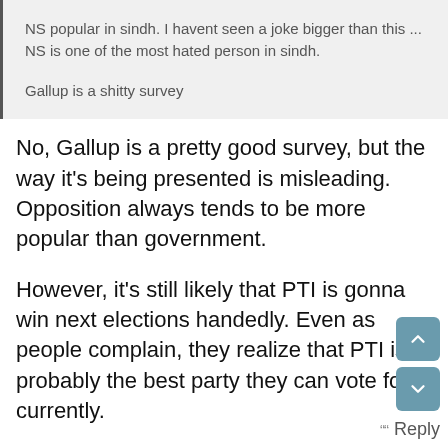NS popular in sindh. I havent seen a joke bigger than this ... NS is one of the most hated person in sindh.
Gallup is a shitty survey
No, Gallup is a pretty good survey, but the way it's being presented is misleading. Opposition always tends to be more popular than government.
However, it's still likely that PTI is gonna win next elections handedly. Even as people complain, they realize that PTI is probably the best party they can vote for currently.
PMLN and PPP are being relegated to regional status, and PTI remains the only real national level party left.